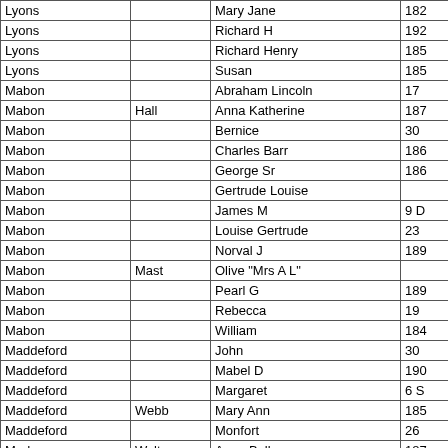| Last Name | Mother's Maiden | First Name | Date |
| --- | --- | --- | --- |
| Lyons |  | Mary Jane | 182 |
| Lyons |  | Richard H | 192 |
| Lyons |  | Richard Henry | 185 |
| Lyons |  | Susan | 185 |
| Mabon |  | Abraham Lincoln | 17 |
| Mabon | Hall | Anna Katherine | 187 |
| Mabon |  | Bernice | 30 |
| Mabon |  | Charles Barr | 186 |
| Mabon |  | George Sr | 186 |
| Mabon |  | Gertrude Louise |  |
| Mabon |  | James M | 9 D |
| Mabon |  | Louise Gertrude | 23 |
| Mabon |  | Norval J | 189 |
| Mabon | Mast | Olive "Mrs A L" |  |
| Mabon |  | Pearl G | 189 |
| Mabon |  | Rebecca | 19 |
| Mabon |  | William | 184 |
| Maddeford |  | John | 30 |
| Maddeford |  | Mabel D | 190 |
| Maddeford |  | Margaret | 6 S |
| Maddeford | Webb | Mary Ann | 185 |
| Maddeford |  | Monfort | 26 |
| Mader | Walton | Anna Belle | 187 |
| Mader |  | George | 187 |
| Magnuson |  | Alexander |  |
| Maguire |  | Charles James | 190 |
| Main | Haller | Jane "Jennie" | 186 |